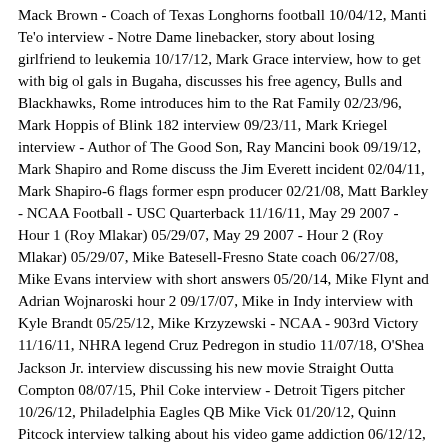Mack Brown - Coach of Texas Longhorns football 10/04/12, Manti Te'o interview - Notre Dame linebacker, story about losing girlfriend to leukemia 10/17/12, Mark Grace interview, how to get with big ol gals in Bugaha, discusses his free agency, Bulls and Blackhawks, Rome introduces him to the Rat Family 02/23/96, Mark Hoppis of Blink 182 interview 09/23/11, Mark Kriegel interview - Author of The Good Son, Ray Mancini book 09/19/12, Mark Shapiro and Rome discuss the Jim Everett incident 02/04/11, Mark Shapiro-6 flags former espn producer 02/21/08, Matt Barkley - NCAA Football - USC Quarterback 11/16/11, May 29 2007 - Hour 1 (Roy Mlakar) 05/29/07, May 29 2007 - Hour 2 (Roy Mlakar) 05/29/07, Mike Batesell-Fresno State coach 06/27/08, Mike Evans interview with short answers 05/20/14, Mike Flynt and Adrian Wojnaroski hour 2 09/17/07, Mike in Indy interview with Kyle Brandt 05/25/12, Mike Krzyzewski - NCAA - 903rd Victory 11/16/11, NHRA legend Cruz Pedregon in studio 11/07/18, O'Shea Jackson Jr. interview discussing his new movie Straight Outta Compton 08/07/15, Phil Coke interview - Detroit Tigers pitcher 10/26/12, Philadelphia Eagles QB Mike Vick 01/20/12, Quinn Pitcock interview talking about his video game addiction 06/12/12, Randy Couture-Andre Wadsworth-Mark Teixeira interviews 08/23/07, Reset of Evel Knievel interview - Do you know who the hell I am?
soundbite from Del Mar 09/01/16, Rich in Anaheim Hills on Bugaha - From 1996 Smackoff 04/05/96, Rick Reilly on Sammy